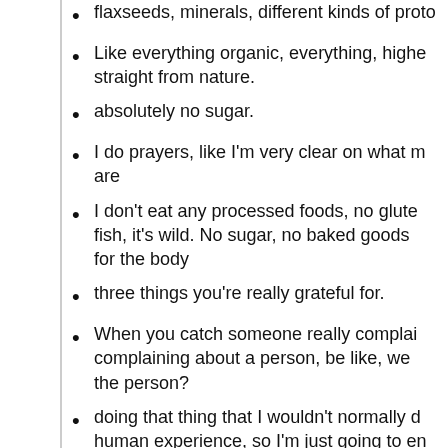flaxseeds, minerals, different kinds of proto…
Like everything organic, everything, highe… straight from nature.
absolutely no sugar.
I do prayers, like I'm very clear on what m… are
I don't eat any processed foods, no glute… fish, it's wild. No sugar, no baked goods… for the body
three things you're really grateful for.
When you catch someone really complai… complaining about a person, be like, we… the person?
doing that thing that I wouldn't normally d… human experience, so I'm just going to en…